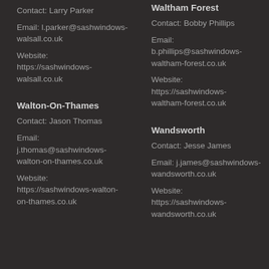Contact: Larry Parker
Email: l.parker@sashwindows-walsall.co.uk
Website: https://sashwindows-walsall.co.uk
Waltham Forest
Contact: Bobby Phillips
Email: b.phillips@sashwindows-waltham-forest.co.uk
Website: https://sashwindows-waltham-forest.co.uk
Walton-On-Thames
Contact: Jason Thomas
Email: j.thomas@sashwindows-walton-on-thames.co.uk
Website: https://sashwindows-walton-on-thames.co.uk
Wandsworth
Contact: Jesse James
Email: j.james@sashwindows-wandsworth.co.uk
Website: https://sashwindows-wandsworth.co.uk